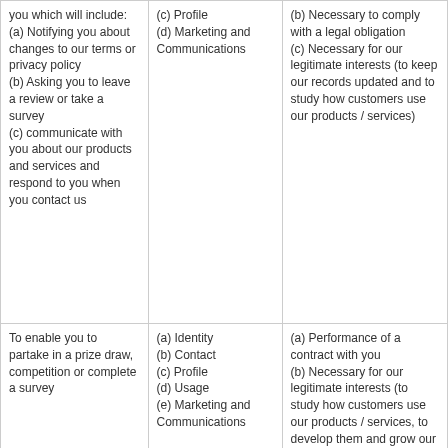| you which will include:
(a) Notifying you about changes to our terms or privacy policy
(b) Asking you to leave a review or take a survey
(c) communicate with you about our products and services and respond to you when you contact us | (c) Profile
(d) Marketing and Communications | (b) Necessary to comply with a legal obligation
(c) Necessary for our legitimate interests (to keep our records updated and to study how customers use our products / services) |
| To enable you to partake in a prize draw, competition or complete a survey | (a) Identity
(b) Contact
(c) Profile
(d) Usage
(e) Marketing and Communications | (a) Performance of a contract with you
(b) Necessary for our legitimate interests (to study how customers use our products / services, to develop them and grow our |